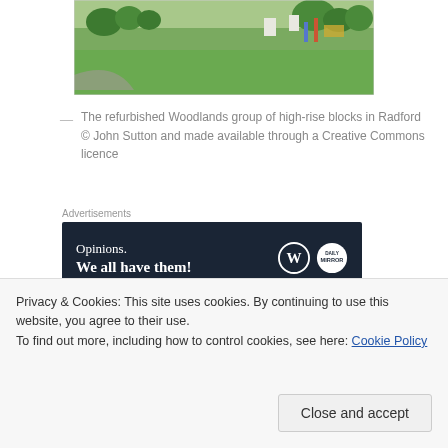[Figure (photo): A park scene with green grass, trees, and what appears to be a playground area in the background — the refurbished Woodlands group of high-rise blocks area in Radford]
— The refurbished Woodlands group of high-rise blocks in Radford © John Sutton and made available through a Creative Commons licence
Advertisements
[Figure (other): Advertisement banner with dark navy background reading 'Opinions. We all have them!' with WordPress and Daily Mirror logos]
Here Nottingham provides some salutary lessons.
The city embraced these methods, these ambitions
Privacy & Cookies: This site uses cookies. By continuing to use this website, you agree to their use. To find out more, including how to control cookies, see here: Cookie Policy
Close and accept